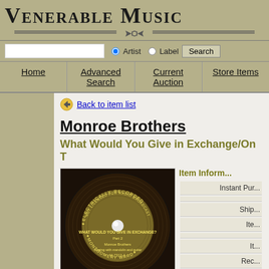Venerable Music
Artist  Label  Search
Home | Advanced Search | Current Auction | Store Items
Back to item list
Monroe Brothers
What Would You Give in Exchange/On T...
[Figure (photo): Vinyl record label for Monroe Brothers 'What Would You Give in Exchange? Part 2', M-7312-A, Montgomery Ward, electrically recorded]
Item Information
Instant Purchase
Shipping
Item
Item
Rec
Physical C